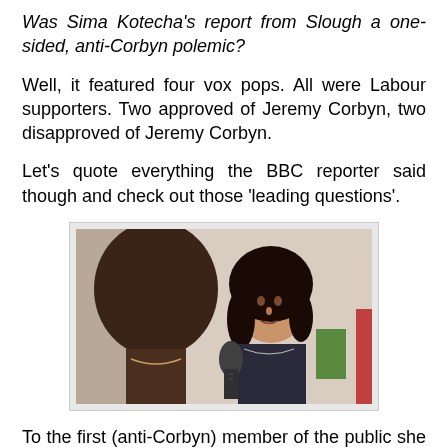Was Sima Kotecha's report from Slough a one-sided, anti-Corbyn polemic?
Well, it featured four vox pops. All were Labour supporters. Two approved of Jeremy Corbyn, two disapproved of Jeremy Corbyn.
Let's quote everything the BBC reporter said though and check out those 'leading questions'.
[Figure (photo): A BBC reporter (Sima Kotecha) conducting a vox pop interview, holding a microphone. The back of a person's head is visible in the foreground; the reporter faces the camera.]
To the first (anti-Corbyn) member of the public she asked: